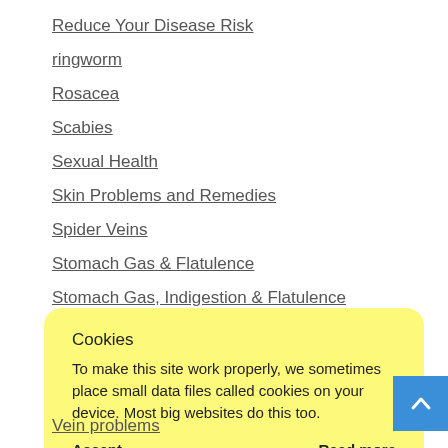Reduce Your Disease Risk
ringworm
Rosacea
Scabies
Sexual Health
Skin Problems and Remedies
Spider Veins
Stomach Gas & Flatulence
Stomach Gas, Indigestion & Flatulence
Stretch marks
Sweating and Body Odours
The Brain
Cookies
To make this site work properly, we sometimes place small data files called cookies on your device. Most big websites do this too.
Accept    Read more
Vein problems